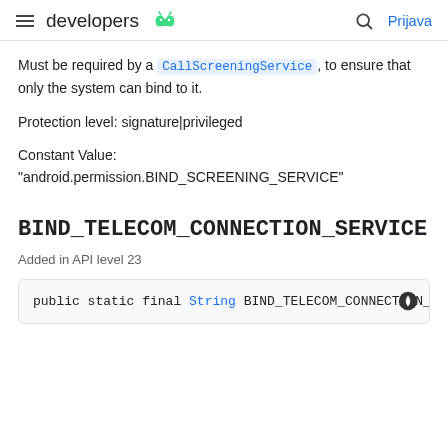developers [android logo] [search icon] Prijava
Must be required by a CallScreeningService, to ensure that only the system can bind to it.
Protection level: signature|privileged
Constant Value:
"android.permission.BIND_SCREENING_SERVICE"
BIND_TELECOM_CONNECTION_SERVICE
Added in API level 23
public static final String BIND_TELECOM_CONNECTION_S